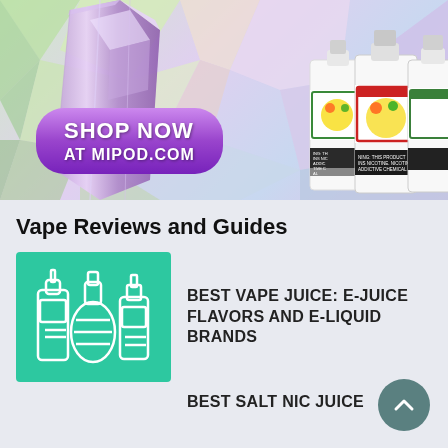[Figure (photo): Advertisement banner for MiPod.com showing vape products — a purple crystal vape device on the left and e-liquid bottles on the right, with colorful geometric polygonal background. A purple pill-shaped button reads 'SHOP NOW AT MIPOD.COM' in white bold text.]
Vape Reviews and Guides
[Figure (illustration): Teal/green square thumbnail icon showing three e-liquid bottle outlines in white line art]
BEST VAPE JUICE: E-JUICE FLAVORS AND E-LIQUID BRANDS
BEST SALT NIC JUICE